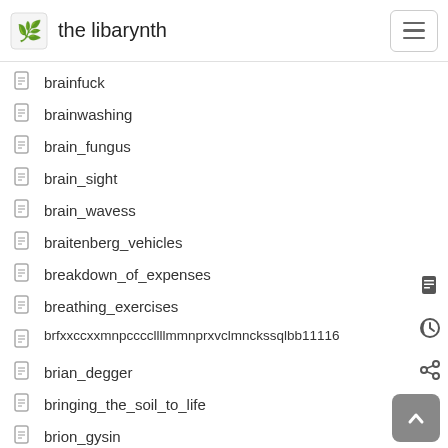the libarynth
brainfuck
brainwashing
brain_fungus
brain_sight
brain_wavess
braitenberg_vehicles
breakdown_of_expenses
breathing_exercises
brfxxccxxmnpccccllllmmnprxvclmnckssqlbb11116
brian_degger
bringing_the_soil_to_life
brion_gysin
brothers_bogdanoff
bruce_sterling
brussels_data
brussels_dialect
brussels_map